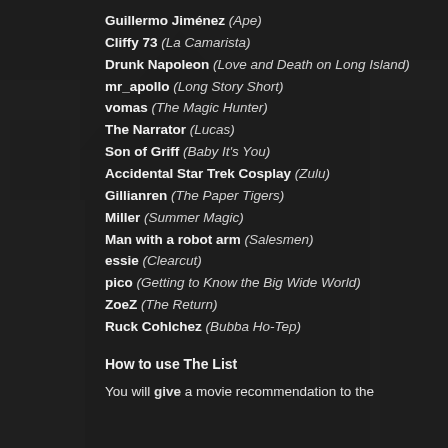Guillermo Jiménez (Ape)
Cliffy 73 (La Camarista)
Drunk Napoleon (Love and Death on Long Island)
mr_apollo (Long Story Short)
vomas (The Magic Hunter)
The Narrator (Lucas)
Son of Griff (Baby It's You)
Accidental Star Trek Cosplay (Zulu)
Gillianren (The Paper Tigers)
Miller (Summer Magic)
Man with a robot arm (Salesmen)
essie (Clearcut)
pico (Getting to Know the Big Wide World)
ZoeZ (The Return)
Ruck Cohlchez (Bubba Ho-Tep)
How to use The List
You will give a movie recommendation to the